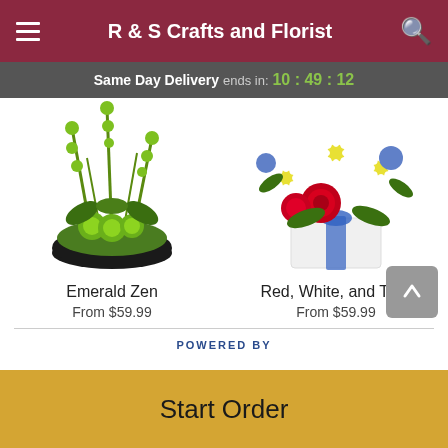R & S Crafts and Florist
Same Day Delivery ends in: 10 : 49 : 12
[Figure (photo): Emerald Zen flower arrangement - green flowers and plants in a black bowl]
Emerald Zen
From $59.99
[Figure (photo): Red, White, and True flower arrangement - red roses, white daisies, blue accents in a white box with blue ribbon]
Red, White, and True
From $59.99
POWERED BY
Start Order